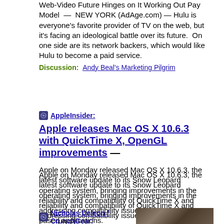Web-Video Future Hinges on It Working Out Pay Model — NEW YORK (AdAge.com) — Hulu is everyone's favorite provider of TV on the web, but it's facing an ideological battle over its future.  On one side are its network backers, which would like Hulu to become a paid service.
Discussion:  Andy Beal's Marketing Pilgrim
AppleInsider:
Apple releases Mac OS X 10.6.3 with QuickTime X, OpenGL improvements
— Apple on Monday released Mac OS X 10.6.3, the latest software update to its Snow Leopard operating system, bringing improvements in the reliability and compatibility of QuickTime X and addressing compatibility issues with OpenGL-based applications.
Discussion:  Macworld, The Register, PC World and Boy Genius Report
Nicholas Deleon / CrunchGear:
DirecTV will
[Figure (photo): Small thumbnail image, dark/brown tones, appears to be a technology-related photo]